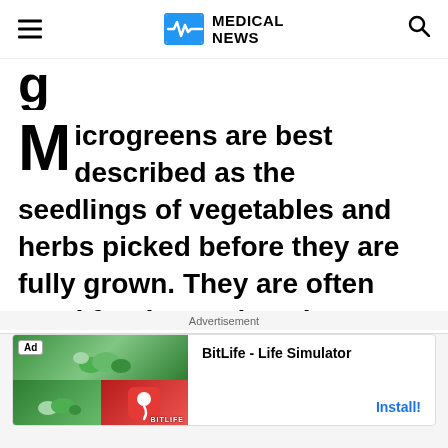MEDICAL NEWS
g
Microgreens are best described as the seedlings of vegetables and herbs picked before they are fully grown. They are often used for decorations in restaurants but can be used in various ways to benefit your health. Rich in vitamins C, E, and K, microgreens pack a punch for such a small food option. Microgreens have been
Advertisement
BitLife - Life Simulator
Install!